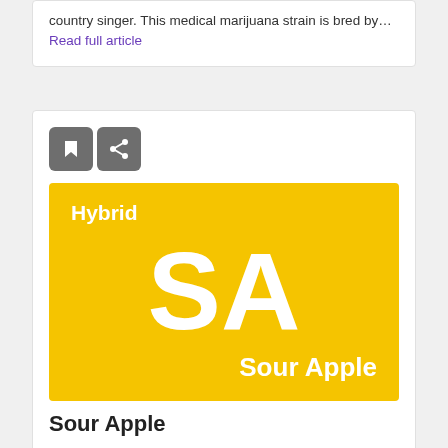country singer. This medical marijuana strain is bred by... Read full article
[Figure (illustration): Yellow card showing hybrid marijuana strain abbreviation 'SA' with text 'Hybrid' at top left and 'Sour Apple' at bottom right]
Sour Apple